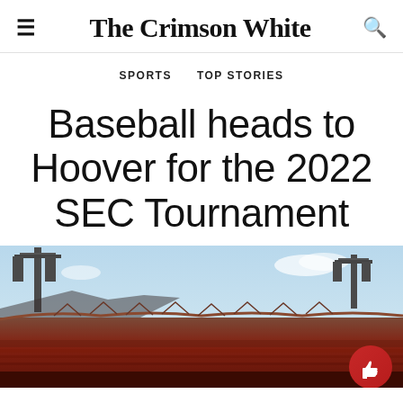The Crimson White
SPORTS   TOP STORIES
Baseball heads to Hoover for the 2022 SEC Tournament
[Figure (photo): Stadium photo showing exterior stands and light towers of a baseball stadium, likely Hoover Metropolitan Stadium, with red/brick-colored stands and metal light towers against a light blue sky.]